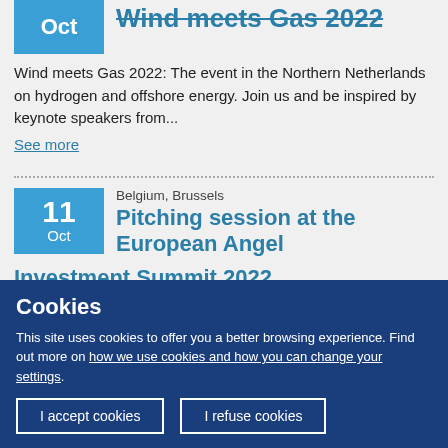Wind meets Gas 2022
Wind meets Gas 2022: The event in the Northern Netherlands on hydrogen and offshore energy. Join us and be inspired by keynote speakers from...
See more
Pitching session at the European Angel Investment Summit 2022
Belgium, Brussels
EBAN is once again partnering with the Enterprise
Cookies
This site uses cookies to offer you a better browsing experience. Find out more on how we use cookies and how you can change your settings.
I accept cookies
I refuse cookies